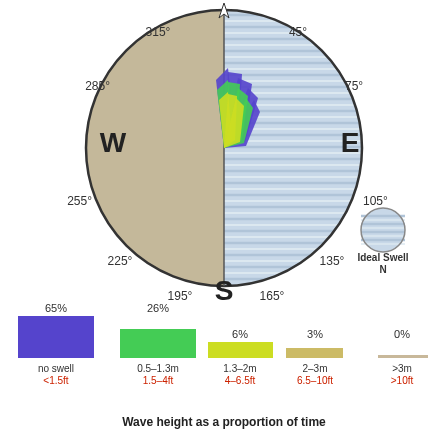[Figure (radar-chart): Polar wind/wave rose showing swell directions predominantly from NNE (around 0-45 degrees). The right semicircle shows blue striped pattern indicating ideal swell zone. The left semicircle is tan/beige. Compass labels: W, E, S and degree markings 45, 75, 105, 135, 165, 195, 225, 255, 285, 315. A small circle labeled 'Ideal Swell N' appears bottom right.]
[Figure (bar-chart): Wave height as a proportion of time]
Wave height as a proportion of time